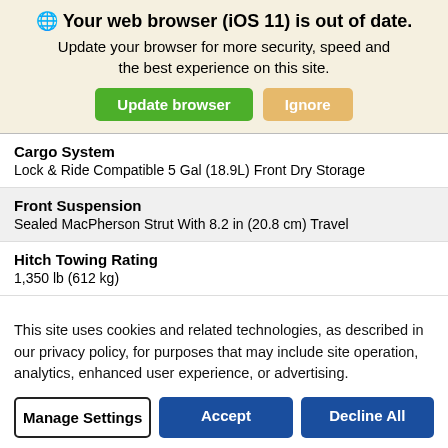🌐 Your web browser (iOS 11) is out of date. Update your browser for more security, speed and the best experience on this site. [Update browser] [Ignore]
Cargo System
Lock & Ride Compatible 5 Gal (18.9L) Front Dry Storage
Front Suspension
Sealed MacPherson Strut With 8.2 in (20.8 cm) Travel
Hitch Towing Rating
1,350 lb (612 kg)
Hitch Type
Standard 1.25 in (3.2 cm) Receiver
This site uses cookies and related technologies, as described in our privacy policy, for purposes that may include site operation, analytics, enhanced user experience, or advertising.
[Manage Settings] [Accept] [Decline All]